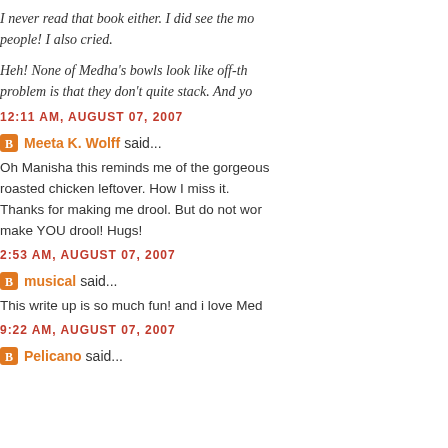I never read that book either. I did see the mo... people! I also cried.
Heh! None of Medha's bowls look like off-th... problem is that they don't quite stack. And yo...
12:11 AM, AUGUST 07, 2007
Meeta K. Wolff said...
Oh Manisha this reminds me of the gorgeous... roasted chicken leftover. How I miss it. Thanks for making me drool. But do not wor... make YOU drool! Hugs!
2:53 AM, AUGUST 07, 2007
musical said...
This write up is so much fun! and i love Med...
9:22 AM, AUGUST 07, 2007
Pelicano said...